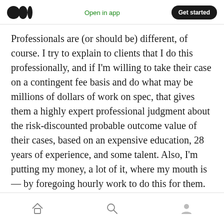Open in app | Get started
Professionals are (or should be) different, of course. I try to explain to clients that I do this professionally, and if I'm willing to take their case on a contingent fee basis and do what may be millions of dollars of work on spec, that gives them a highly expert professional judgment about the risk-discounted probable outcome value of their cases, based on an expensive education, 28 years of experience, and some talent. Also, I'm putting my money, a lot of it, where my mouth is — by foregoing hourly work to do this for them.
Home | Search | Profile